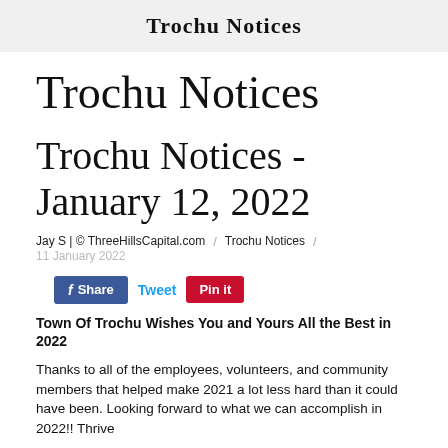Trochu Notices
Trochu Notices
Trochu Notices - January 12, 2022
Jay S | © ThreeHillsCapital.com / Trochu Notices / 11 January 2022
f Share   Tweet   Pin it
Town Of Trochu Wishes You and Yours All the Best in 2022
Thanks to all of the employees, volunteers, and community members that helped make 2021 a lot less hard than it could have been. Looking forward to what we can accomplish in 2022!! Thrive